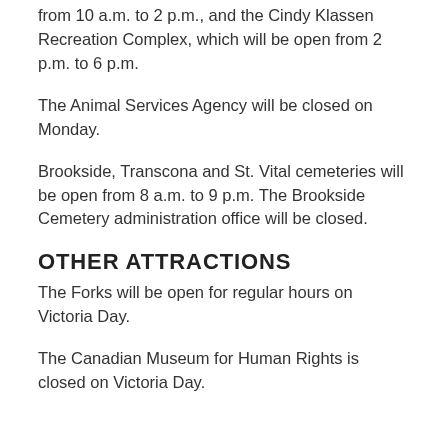from 10 a.m. to 2 p.m., and the Cindy Klassen Recreation Complex, which will be open from 2 p.m. to 6 p.m.
The Animal Services Agency will be closed on Monday.
Brookside, Transcona and St. Vital cemeteries will be open from 8 a.m. to 9 p.m. The Brookside Cemetery administration office will be closed.
OTHER ATTRACTIONS
The Forks will be open for regular hours on Victoria Day.
The Canadian Museum for Human Rights is closed on Victoria Day.